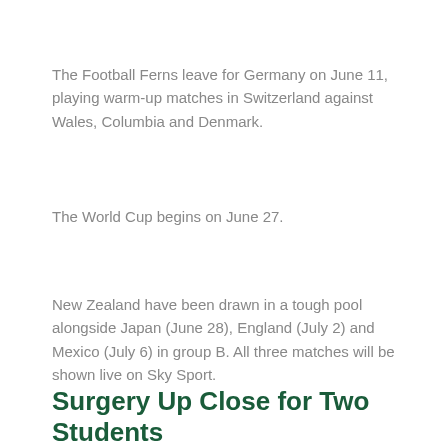The Football Ferns leave for Germany on June 11, playing warm-up matches in Switzerland against Wales, Columbia and Denmark.
The World Cup begins on June 27.
New Zealand have been drawn in a tough pool alongside Japan (June 28), England (July 2) and Mexico (July 6) in group B. All three matches will be shown live on Sky Sport.
Surgery Up Close for Two Students